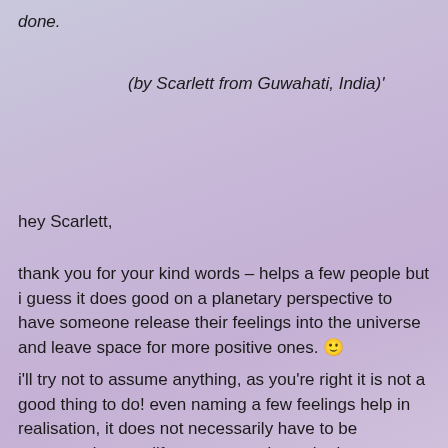done.
(by Scarlett from Guwahati, India)'
hey Scarlett,
thank you for your kind words – helps a few people but i guess it does good on a planetary perspective to have someone release their feelings into the universe and leave space for more positive ones. 🙂
i'll try not to assume anything, as you're right it is not a good thing to do! even naming a few feelings help in realisation, it does not necessarily have to be connected to any life occurrence it can be just a feeling and the negative ones